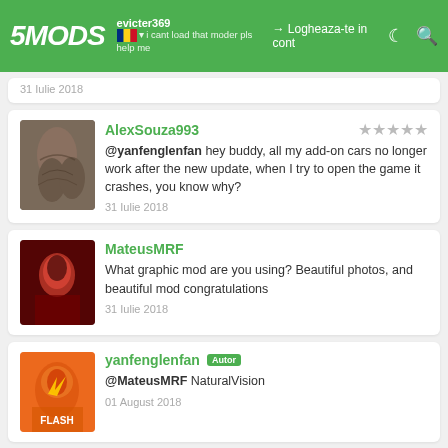5MODS — evicter369 — Logheaza-te in cont
i cant load that moder pls help me
31 Iulie 2018
AlexSouza993
@yanfenglenfan hey buddy, all my add-on cars no longer work after the new update, when I try to open the game it crashes, you know why?
31 Iulie 2018
MateusMRF
What graphic mod are you using? Beautiful photos, and beautiful mod congratulations
31 Iulie 2018
yanfenglenfan Autor
@MateusMRF NaturalVision
01 August 2018